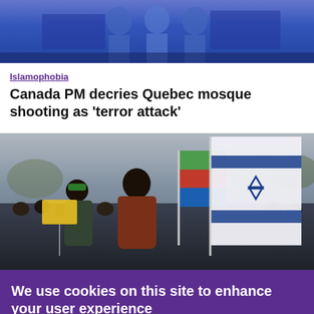[Figure (photo): Top partial photo showing people in blue, possibly a protest or outdoor event, image cropped at top.]
Islamophobia
Canada PM decries Quebec mosque shooting as 'terror attack'
[Figure (photo): Protest scene with a man in a brown jacket holding an Israeli flag, another person holding an Eritrean flag, crowd in background.]
We use cookies on this site to enhance your user experience
By clicking any link on this page you are giving your consent for us to set cookies.
No, thanks
OK, I agree